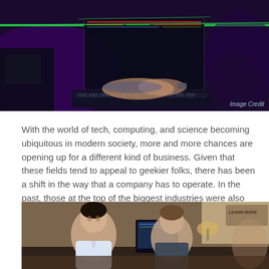[Figure (photo): Person typing on a laptop computer in a dark environment with purple and green lighting, showing hands on keyboard with a glowing screen]
Image Credit
With the world of tech, computing, and science becoming ubiquitous in modern society, more and more chances are opening up for a different kind of business. Given that these fields tend to appeal to geekier folks, there has been a shift in the way that a company has to operate. In the past, those at the top of the biggest industries were also the most confident, strongest willed, and the best at standing their ground. Nowadays, though, this has changed. To help you out with this, this post will be exploring some of the ways to make yourself stand out as a beta in business.
[Figure (photo): Two young men sitting together in an office/home environment, appearing to be working or discussing something, with monitors visible in the background]